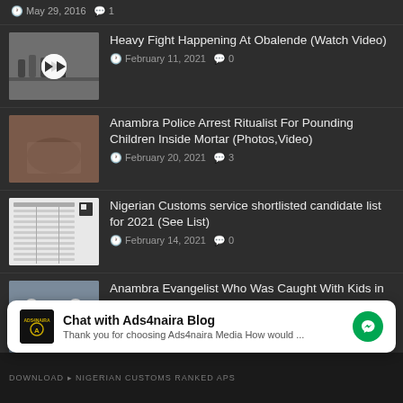May 29, 2016  1
[Figure (photo): Thumbnail image of fight scene at Obalende with play button overlay]
Heavy Fight Happening At Obalende (Watch Video)
February 11, 2021  0
[Figure (photo): Thumbnail image related to Anambra police ritualist arrest story]
Anambra Police Arrest Ritualist For Pounding Children Inside Mortar (Photos,Video)
February 20, 2021  3
[Figure (photo): Thumbnail image of Nigerian Customs candidate list document]
Nigerian Customs service shortlisted candidate list for 2021 (See List)
February 14, 2021  0
[Figure (photo): Thumbnail image of evangelist with children]
Anambra Evangelist Who Was Caught With Kids in Onitsha Confesses
March 12, 2021  0
Chat with Ads4naira Blog
Thank you for choosing Ads4naira Media How would ...